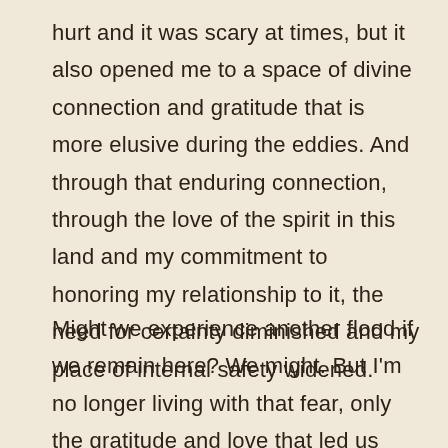hurt and it was scary at times, but it also opened me to a space of divine connection and gratitude that is more elusive during the eddies. And through that enduring connection, through the love of the spirit in this land and my commitment to honoring my relationship to it, the need for certainty diminished and my place of internal safety widened.
Might we experience another flood if we remain here? We might. But I'm no longer living with that fear, only the gratitude and love that led us here, that nourish us, and that